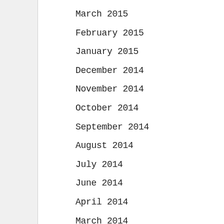March 2015
February 2015
January 2015
December 2014
November 2014
October 2014
September 2014
August 2014
July 2014
June 2014
April 2014
March 2014
February 2014
January 2014